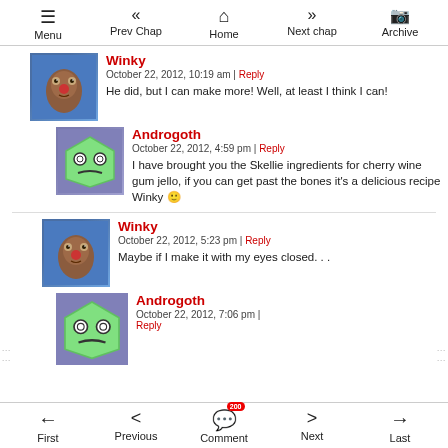Menu | Prev Chap | Home | Next chap | Archive
Winky
October 22, 2012, 10:19 am | Reply
He did, but I can make more! Well, at least I think I can!
Androgoth
October 22, 2012, 4:59 pm | Reply
I have brought you the Skellie ingredients for cherry wine gum jello, if you can get past the bones it's a delicious recipe Winky 🙂
Winky
October 22, 2012, 5:23 pm | Reply
Maybe if I make it with my eyes closed. . .
Androgoth
October 22, 2012, 7:06 pm | Reply
First | Previous | Comment | Next | Last